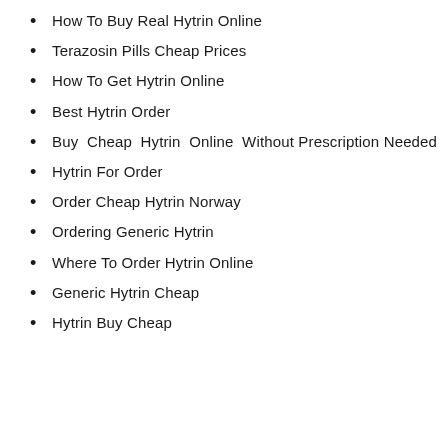How To Buy Real Hytrin Online
Terazosin Pills Cheap Prices
How To Get Hytrin Online
Best Hytrin Order
Buy Cheap Hytrin Online Without Prescription Needed
Hytrin For Order
Order Cheap Hytrin Norway
Ordering Generic Hytrin
Where To Order Hytrin Online
Generic Hytrin Cheap
Hytrin Buy Cheap